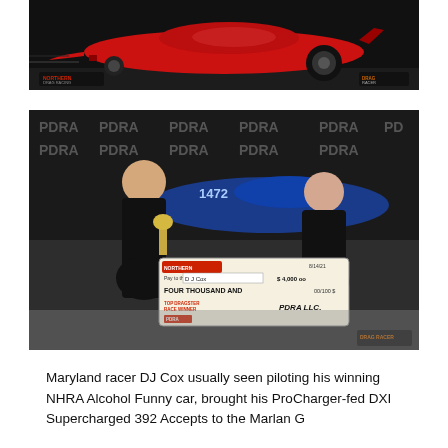[Figure (photo): Red drag racing funny car (ProCharger-fed) in motion on a dark track background, with Northern logo visible in lower left and Drag Racer logo in lower right.]
[Figure (photo): Maryland racer DJ Cox and a woman posing with a trophy and a large check from PDRA LLC for Four Thousand dollars for Top Dragster Race Winner, dated 8/14/21, in front of a blue dragster car with PDRA banners in the background.]
Maryland racer DJ Cox usually seen piloting his winning NHRA Alcohol Funny car, brought his ProCharger-fed DXI Supercharged 392 Accepts to the Maryland